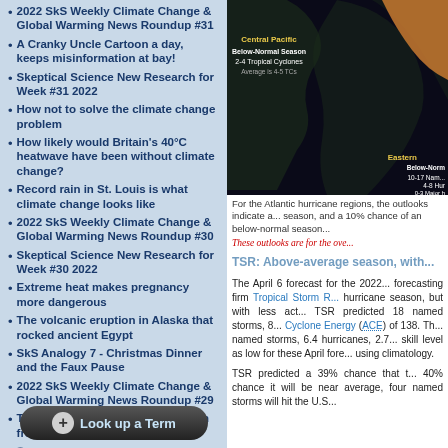2022 SkS Weekly Climate Change & Global Warming News Roundup #31
A Cranky Uncle Cartoon a day, keeps misinformation at bay!
Skeptical Science New Research for Week #31 2022
How not to solve the climate change problem
How likely would Britain's 40°C heatwave have been without climate change?
Record rain in St. Louis is what climate change looks like
2022 SkS Weekly Climate Change & Global Warming News Roundup #30
Skeptical Science New Research for Week #30 2022
Extreme heat makes pregnancy more dangerous
The volcanic eruption in Alaska that rocked ancient Egypt
SkS Analogy 7 - Christmas Dinner and the Faux Pause
2022 SkS Weekly Climate Change & Global Warming News Roundup #29
Taking the Temperature: a dispatch from the UK
[Figure (map): Dark map showing Central Pacific (Below-Normal Season, 2-4 Tropical Cyclones, Average is 4-5 TCs) and Eastern Pacific (Below-Normal, 10-17 Named, 4-8 Hur, 0-3 Major, 45%-100% M, Averages are 15...) hurricane outlook regions.]
For the Atlantic hurricane regions, the outlooks indi... season, and a 10% chance of an below-normal seaso...
These outlooks are for the ove...
TSR: Above-average season, with...
The April 6 forecast for the 202... forecasting firm Tropical Storm R... hurricane season, but with less act... TSR predicted 18 named storms, 8... Cyclone Energy (ACE) of 138. Th... named storms, 6.4 hurricanes, 2.7... skill level as low for these April fore... using climatology.
TSR predicted a 39% chance that t... 40% chance it will be near average, four named storms will hit the U.S...